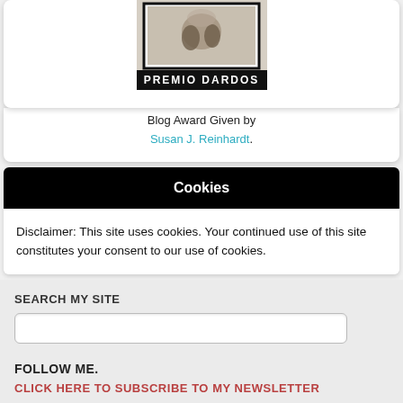[Figure (photo): Premio Dardos blog award image with dark border and text 'PREMIO DARDOS']
Blog Award Given by Susan J. Reinhardt.
Cookies
Disclaimer: This site uses cookies. Your continued use of this site constitutes your consent to our use of cookies.
SEARCH MY SITE
FOLLOW ME.
CLICK HERE TO SUBSCRIBE TO MY NEWSLETTER